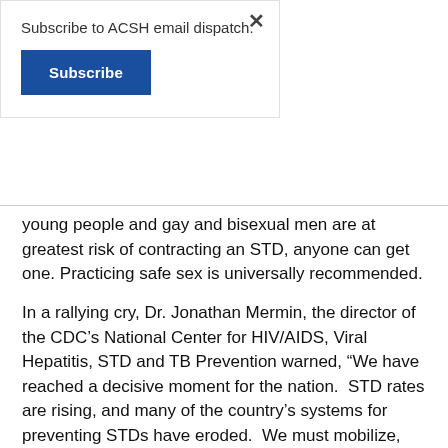Subscribe to ACSH email dispatch.
Subscribe
young people and gay and bisexual men are at greatest risk of contracting an STD, anyone can get one. Practicing safe sex is universally recommended.
In a rallying cry, Dr. Jonathan Mermin, the director of the CDC’s National Center for HIV/AIDS, Viral Hepatitis, STD and TB Prevention warned, “We have reached a decisive moment for the nation.  STD rates are rising, and many of the country’s systems for preventing STDs have eroded.  We must mobilize, rebuild and expand services—or the human and economic burden will continue to grow.”  The claim goes on to direct blame on budget cuts and clinic closures insisting that disappearance of these departments undermines access to testing and treatment for those in need.